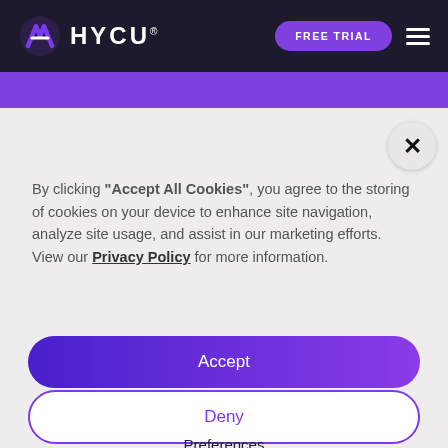[Figure (logo): HYCU logo with purple stylized icon and white HYCU text on dark navy background]
FREE TRIAL
By clicking "Accept All Cookies", you agree to the storing of cookies on your device to enhance site navigation, analyze site usage, and assist in our marketing efforts. View our Privacy Policy for more information.
Accept
Deny
Preferences